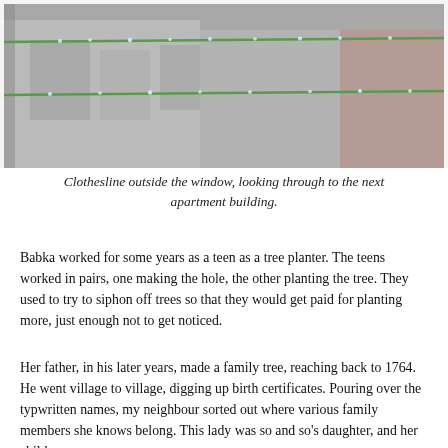[Figure (photo): A close-up view through a window showing a clothesline with green wire and water droplets, with a blurred apartment building visible in the background.]
Clothesline outside the window, looking through to the next apartment building.
Babka worked for some years as a teen as a tree planter. The teens worked in pairs, one making the hole, the other planting the tree. They used to try to siphon off trees so that they would get paid for planting more, just enough not to get noticed.
Her father, in his later years, made a family tree, reaching back to 1764. He went village to village, digging up birth certificates. Pouring over the typwritten names, my neighbour sorted out where various family members she knows belong. This lady was so and so's daughter, and her children